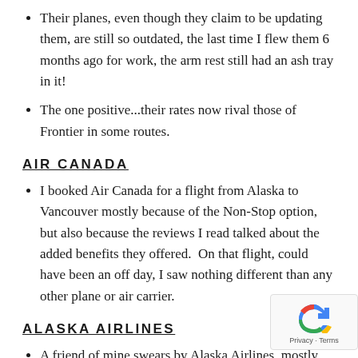Their planes, even though they claim to be updating them, are still so outdated, the last time I flew them 6 months ago for work, the arm rest still had an ash tray in it!
The one positive...their rates now rival those of Frontier in some routes.
AIR CANADA
I booked Air Canada for a flight from Alaska to Vancouver mostly because of the Non-Stop option, but also because the reviews I read talked about the added benefits they offered.  On that flight, could have been an off day, I saw nothing different than any other plane or air carrier.
ALASKA AIRLINES
A friend of mine swears by Alaska Airlines, mostly